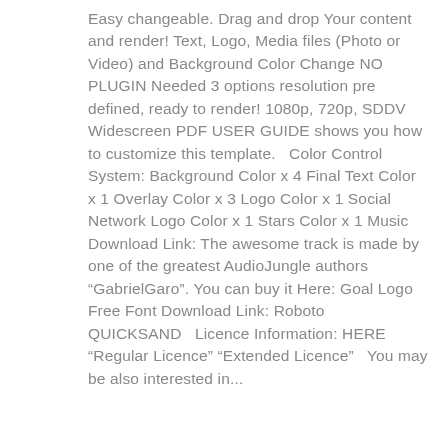Easy changeable. Drag and drop Your content and render! Text, Logo, Media files (Photo or Video) and Background Color Change NO PLUGIN Needed 3 options resolution pre defined, ready to render! 1080p, 720p, SDDV Widescreen PDF USER GUIDE shows you how to customize this template.   Color Control System: Background Color x 4 Final Text Color x 1 Overlay Color x 3 Logo Color x 1 Social Network Logo Color x 1 Stars Color x 1 Music Download Link: The awesome track is made by one of the greatest AudioJungle authors “GabrielGaro”. You can buy it Here: Goal Logo   Free Font Download Link: Roboto QUICKSAND   Licence Information: HERE “Regular Licence” “Extended Licence”   You may be also interested in...